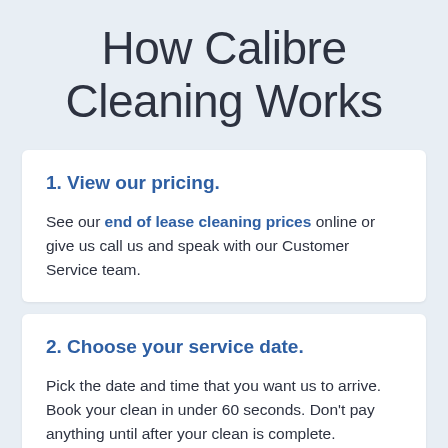How Calibre Cleaning Works
1. View our pricing.
See our end of lease cleaning prices online or give us call us and speak with our Customer Service team.
2. Choose your service date.
Pick the date and time that you want us to arrive. Book your clean in under 60 seconds. Don't pay anything until after your clean is complete.